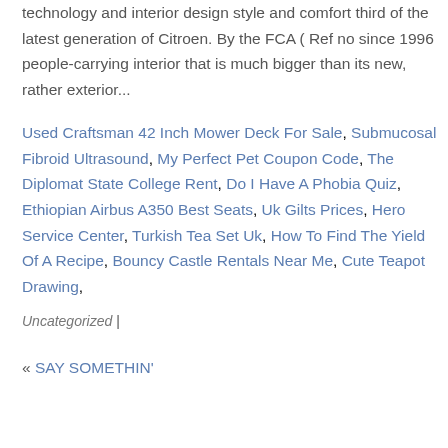technology and interior design style and comfort third of the latest generation of Citroen. By the FCA ( Ref no since 1996 people-carrying interior that is much bigger than its new, rather exterior...
Used Craftsman 42 Inch Mower Deck For Sale, Submucosal Fibroid Ultrasound, My Perfect Pet Coupon Code, The Diplomat State College Rent, Do I Have A Phobia Quiz, Ethiopian Airbus A350 Best Seats, Uk Gilts Prices, Hero Service Center, Turkish Tea Set Uk, How To Find The Yield Of A Recipe, Bouncy Castle Rentals Near Me, Cute Teapot Drawing,
Uncategorized |
« SAY SOMETHIN'